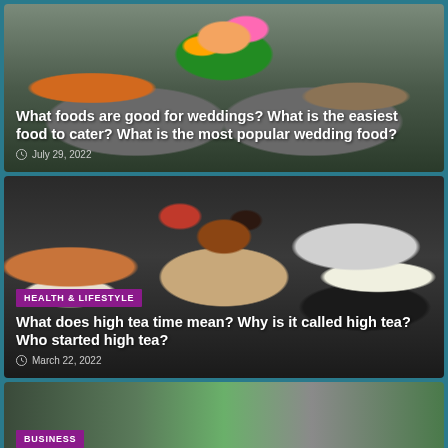[Figure (photo): Overhead view of a wedding table setup with flowers, plates, food, and decorations]
What foods are good for weddings? What is the easiest food to cater? What is the most popular wedding food?
July 29, 2022
[Figure (photo): Overhead view of a tea and food spread with cups of tea, sandwiches, fruits, cheese and berries on a dark table]
HEALTH & LIFESTYLE
What does high tea time mean? Why is it called high tea? Who started high tea?
March 22, 2022
[Figure (photo): Partial view of third card showing two images side by side with green plants/leaves, with BUSINESS badge]
BUSINESS